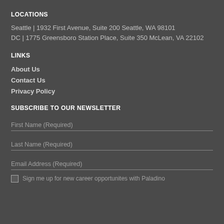LOCATIONS
Seattle | 1932 First Avenue, Suite 200 Seattle, WA 98101
DC | 1775 Greensboro Station Place, Suite 350 McLean, VA 22102
LINKS
About Us
Contact Us
Privacy Policy
SUBSCRIBE TO OUR NEWSLETTER
First Name (Required)
Last Name (Required)
Email Address (Required)
Sign me up for new career opportunites with Paladino